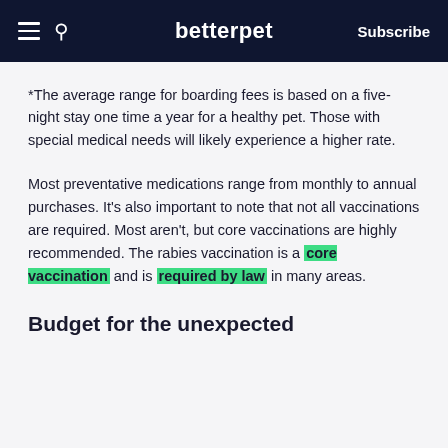betterpet | Subscribe
*The average range for boarding fees is based on a five-night stay one time a year for a healthy pet. Those with special medical needs will likely experience a higher rate.
Most preventative medications range from monthly to annual purchases. It’s also important to note that not all vaccinations are required. Most aren’t, but core vaccinations are highly recommended. The rabies vaccination is a core vaccination and is required by law in many areas.
Budget for the unexpected